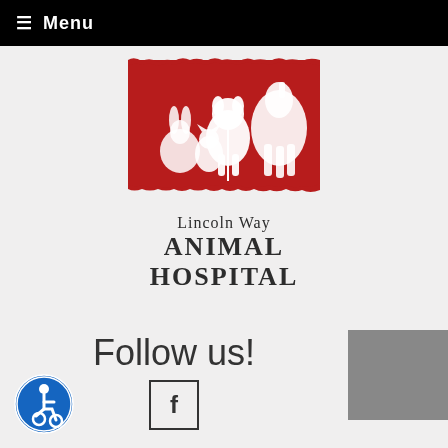☰ Menu
[Figure (logo): Lincoln Way Animal Hospital logo — red rectangular background with white silhouettes of animals (dog, cat, horse, rabbit) and text 'Lincoln Way ANIMAL HOSPITAL']
Follow us!
[Figure (other): Facebook social media icon button (letter f in a square border)]
[Figure (other): Accessibility icon — blue circle with wheelchair user symbol]